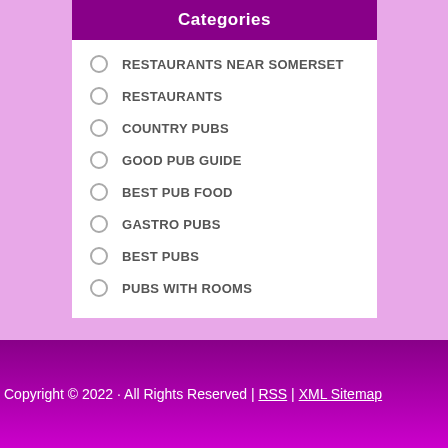Categories
RESTAURANTS NEAR SOMERSET
RESTAURANTS
COUNTRY PUBS
GOOD PUB GUIDE
BEST PUB FOOD
GASTRO PUBS
BEST PUBS
PUBS WITH ROOMS
Copyright © 2022 · All Rights Reserved | RSS | XML Sitemap